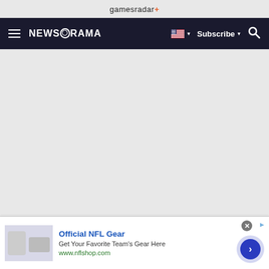gamesradar+
[Figure (screenshot): Newsarama navigation bar with hamburger menu, Newsarama logo, US flag dropdown, Subscribe dropdown, and search icon on dark background]
[Figure (other): Large grey empty content area]
[Figure (other): Advertisement banner: Official NFL Gear - Get Your Favorite Team's Gear Here - www.nflshop.com, with close button, ad choices icon, NFL gear thumbnail, and blue arrow button]